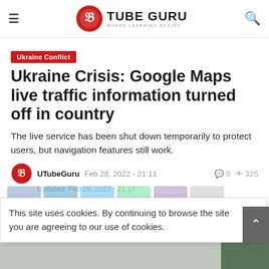TUBE GURU — WHERE LEARNING BEGINS
Ukraine Conflict
Ukraine Crisis: Google Maps live traffic information turned off in country
The live service has been shut down temporarily to protect users, but navigation features still work.
UTubeGuru  Feb 28, 2022 - 21:11    🗨 0  👁 325
Updated: Feb 28, 2022 - 21:17
This site uses cookies. By continuing to browse the site you are agreeing to our use of cookies.